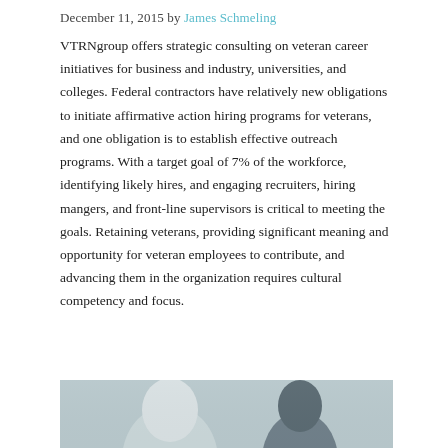December 11, 2015 by James Schmeling
VTRNgroup offers strategic consulting on veteran career initiatives for business and industry, universities, and colleges. Federal contractors have relatively new obligations to initiate affirmative action hiring programs for veterans, and one obligation is to establish effective outreach programs. With a target goal of 7% of the workforce, identifying likely hires, and engaging recruiters, hiring mangers, and front-line supervisors is critical to meeting the goals. Retaining veterans, providing significant meaning and opportunity for veteran employees to contribute, and advancing them in the organization requires cultural competency and focus.
[Figure (photo): Partial photo showing the top of a person's head, cropped at the bottom of the page.]